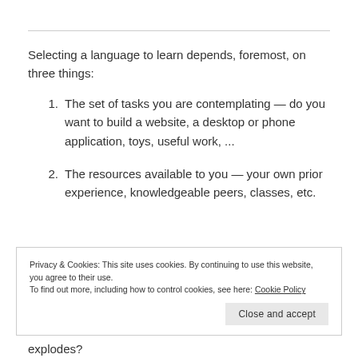Selecting a language to learn depends, foremost, on three things:
The set of tasks you are contemplating — do you want to build a website, a desktop or phone application, toys, useful work, ...
The resources available to you — your own prior experience, knowledgeable peers, classes, etc.
Privacy & Cookies: This site uses cookies. By continuing to use this website, you agree to their use.
To find out more, including how to control cookies, see here: Cookie Policy
explodes?